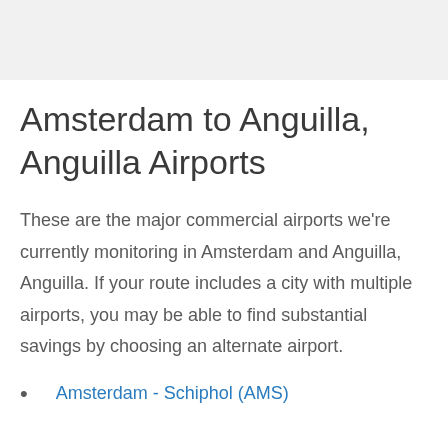Amsterdam to Anguilla, Anguilla Airports
These are the major commercial airports we're currently monitoring in Amsterdam and Anguilla, Anguilla. If your route includes a city with multiple airports, you may be able to find substantial savings by choosing an alternate airport.
Amsterdam - Schiphol (AMS)